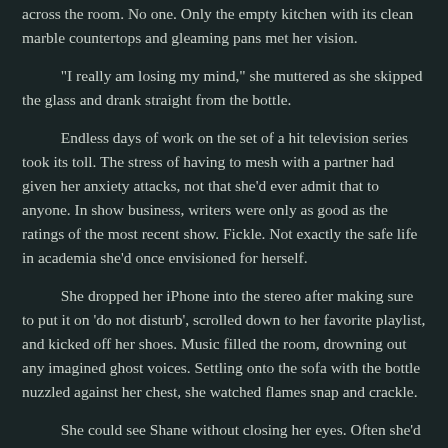across the room. No one. Only the empty kitchen with its clean marble countertops and gleaming pans met her vision.
"I really am losing my mind," she muttered as she skipped the glass and drank straight from the bottle.
Endless days of work on the set of a hit television series took its toll. The stress of having to mesh with a partner had given her anxiety attacks, not that she'd ever admit that to anyone. In show business, writers were only as good as the ratings of the most recent show. Fickle. Not exactly the safe life in academia she'd once envisioned for herself.
She dropped her iPhone into the stereo after making sure to put it on 'do not disturb', scrolled down to her favorite playlist, and kicked off her shoes. Music filled the room, drowning out any imagined ghost voices. Settling onto the sofa with the bottle nuzzled against her chest, she watched flames snap and crackle.
She could see Shane without closing her eyes. Often she'd imagine seeing him in a crowd, his tall silhouette a head above the others on the street. Sometimes she would see him at their favorite